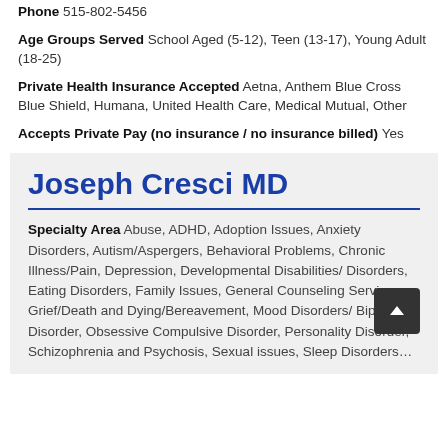Phone 515-802-5456
Age Groups Served  School Aged (5-12), Teen (13-17), Young Adult (18-25)
Private Health Insurance Accepted  Aetna, Anthem Blue Cross Blue Shield, Humana, United Health Care, Medical Mutual, Other
Accepts Private Pay (no insurance / no insurance billed)  Yes
Joseph Cresci MD
Specialty Area  Abuse, ADHD, Adoption Issues, Anxiety Disorders, Autism/Aspergers, Behavioral Problems, Chronic Illness/Pain, Depression, Developmental Disabilities/ Disorders, Eating Disorders, Family Issues, General Counseling Services, Grief/Death and Dying/Bereavement, Mood Disorders/ Bipolar Disorder, Obsessive Compulsive Disorder, Personality Disorder, Schizophrenia and Psychosis, Sexual issues, Sleep Disorders, Substance Abuse Disorder, Other